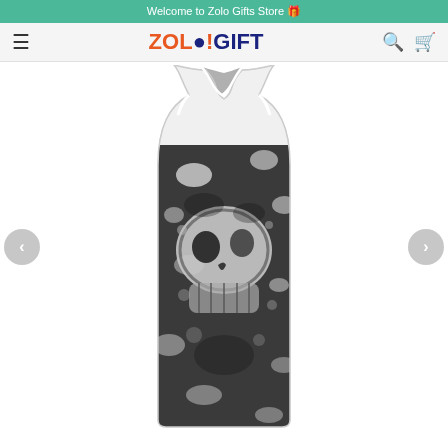Welcome to Zolo Gifts Store 🎁
[Figure (logo): ZOL●!GIFT logo in orange and dark blue]
[Figure (photo): White racerback tank top with black and white skull grunge print design, shown on a mannequin. Left and right navigation arrows visible on sides.]